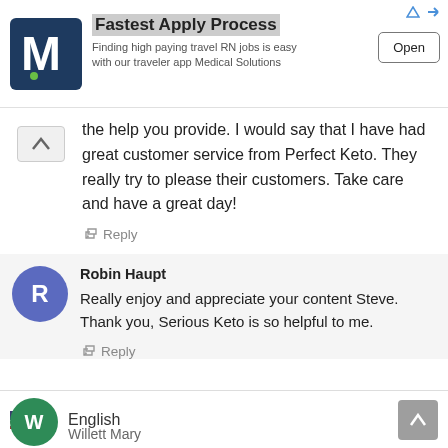[Figure (screenshot): Advertisement banner for Medical Solutions travel RN jobs app with logo, title 'Fastest Apply Process', subtitle text, and 'Open' button]
the help you provide. I would say that I have had great customer service from Perfect Keto. They really try to please their customers. Take care and have a great day!
↩ Reply
Robin Haupt
Really enjoy and appreciate your content Steve. Thank you, Serious Keto is so helpful to me.
↩ Reply
English
Willett Mary